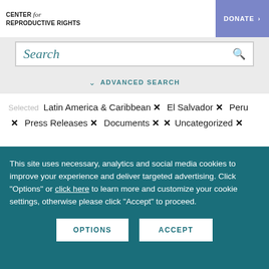CENTER for REPRODUCTIVE RIGHTS
Search
ADVANCED SEARCH
Selected  Latin America & Caribbean ×  El Salvador ×  Peru ×  Press Releases ×  Documents ×  ×  Uncategorized ×
This site uses necessary, analytics and social media cookies to improve your experience and deliver targeted advertising. Click "Options" or click here to learn more and customize your cookie settings, otherwise please click "Accept" to proceed.
OPTIONS
ACCEPT